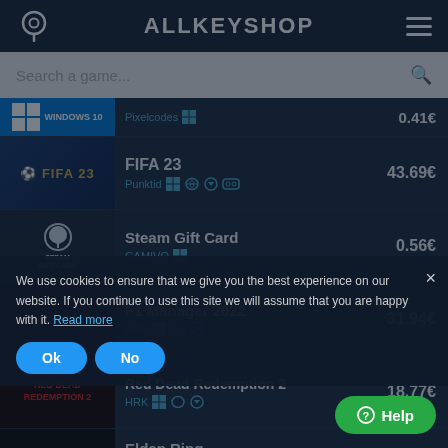ALLKEYSHOP
Search a game...
| Game | Seller | Price |
| --- | --- | --- |
| Windows 10 | Pixelcodes | 0.41€ |
| FIFA 23 | Punktid | 43.69€ |
| Steam Gift Card | GAMIVO | 0.56€ |
| F1 Manager 2022 | HRK | 31.94€ |
| Red Dead Redemption 2 | HRK | 18.77€ |
| Elden Ring | GamesForPlay | 36.81€ |
| Windows 11 Pro | Pixelcodes | 9.75€ |
| Xbox Game Pass Ultimate | GAMIVO |  |
We use cookies to ensure that we give you the best experience on our website. If you continue to use this site we will assume that you are happy with it. Read more
Ok
No
? Help